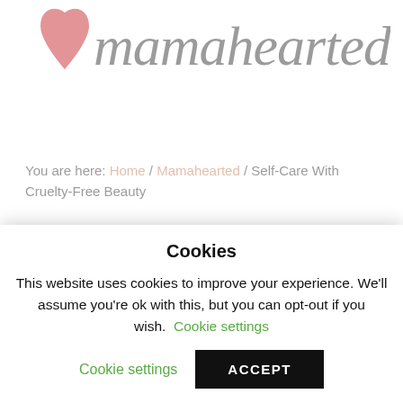[Figure (logo): Mamahearted logo with red heart and cursive script text]
You are here: Home / Mamahearted / Self-Care With Cruelty-Free Beauty
Self-Care With Cruelty-Free
Cookies
This website uses cookies to improve your experience. We'll assume you're ok with this, but you can opt-out if you wish. Cookie settings
ACCEPT